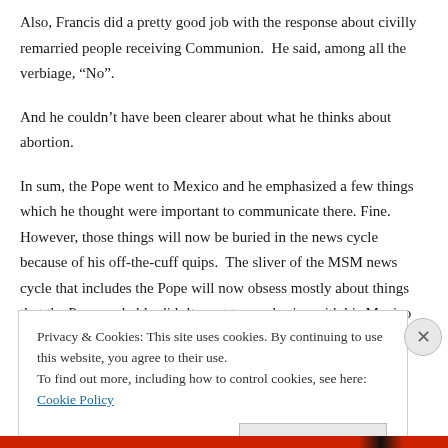Also, Francis did a pretty good job with the response about civilly remarried people receiving Communion.  He said, among all the verbiage, “No”.
And he couldn’t have been clearer about what he thinks about abortion.
In sum, the Pope went to Mexico and he emphasized a few things which he thought were important to communicate there. Fine.  However, those things will now be buried in the news cycle because of his off-the-cuff quips.  The sliver of the MSM news cycle that includes the Pope will now obsess mostly about things that the Pope probably didn’t want to emphasize with his Mexico trip.
Privacy & Cookies: This site uses cookies. By continuing to use this website, you agree to their use.
To find out more, including how to control cookies, see here: Cookie Policy
Close and accept